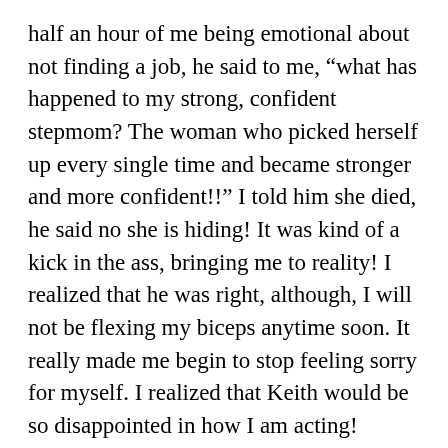half an hour of me being emotional about not finding a job, he said to me, “what has happened to my strong, confident stepmom? The woman who picked herself up every single time and became stronger and more confident!!”  I told him she died, he said no she is hiding!  It was kind of a kick in the ass, bringing me to reality!  I realized that he was right, although, I will not be flexing my biceps anytime soon.  It really made me begin to stop feeling sorry for myself.  I realized that Keith would be so disappointed in how I am acting!  Today, I slowly started to move in at least a forward motion.  Hopefully, as I put one foot in front of the other, and yes with Bailey by my side, the darkness will lighten up, and the hollowness will start to close!  I have been a Phoenix most of my life, the Phoenix will